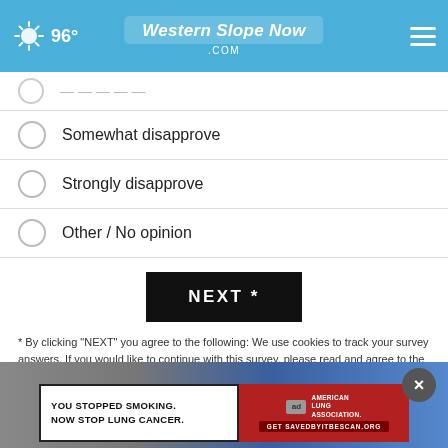96° WesternSlopeNow.com
Somewhat disapprove
Strongly disapprove
Other / No opinion
NEXT *
* By clicking "NEXT" you agree to the following: We use cookies to track your survey answers. If you would like to continue with this survey, please read and agree to the CivicScience Privacy Policy and Terms of Service
TOP STORIES ›
[Figure (photo): Advertisement banner: YOU STOPPED SMOKING. NOW STOP LUNG CANCER. American Lung Association. Get SAVEDBYITBESCAN.ORG]